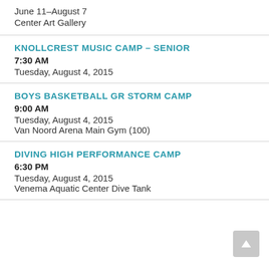June 11–August 7
Center Art Gallery
KNOLLCREST MUSIC CAMP – SENIOR
7:30 AM
Tuesday, August 4, 2015
BOYS BASKETBALL GR STORM CAMP
9:00 AM
Tuesday, August 4, 2015
Van Noord Arena Main Gym (100)
DIVING HIGH PERFORMANCE CAMP
6:30 PM
Tuesday, August 4, 2015
Venema Aquatic Center Dive Tank